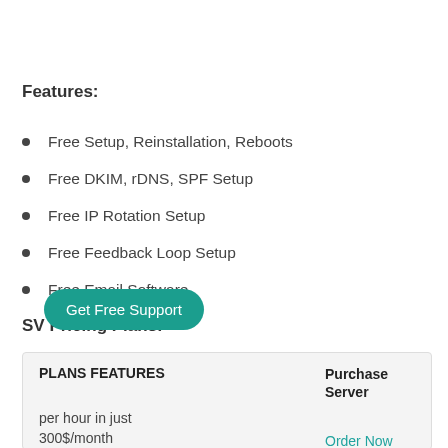Features:
Free Setup, Reinstallation, Reboots
Free DKIM, rDNS, SPF Setup
Free IP Rotation Setup
Free Feedback Loop Setup
Free Email Software
SV Pricing Plans:
| PLANS FEATURES | Purchase Server |
| --- | --- |
| per hour in just
300$/month | Order Now |
Get Free Support